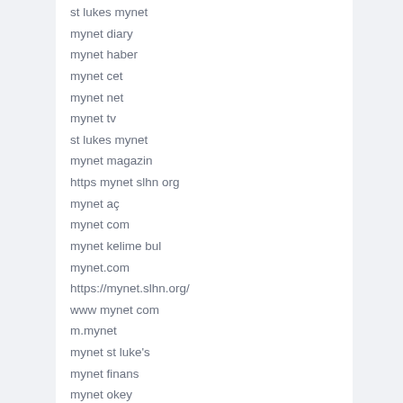st lukes mynet
mynet diary
mynet haber
mynet cet
mynet net
mynet tv
st lukes mynet
mynet magazin
https mynet slhn org
mynet aç
mynet com
mynet kelime bul
mynet.com
https://mynet.slhn.org/
www mynet com
m.mynet
mynet st luke's
mynet finans
mynet okey
mynet oyun king